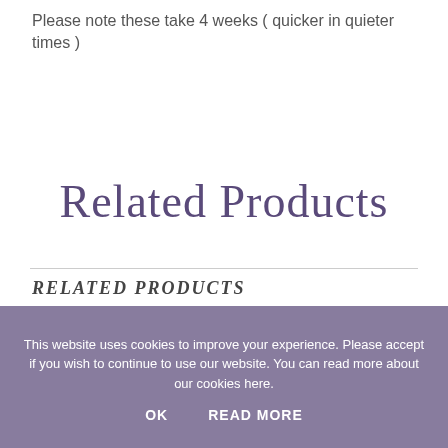Please note these take 4 weeks ( quicker in quieter times )
Related Products
RELATED PRODUCTS
[Figure (photo): Two product photos side by side: left shows a rectangular wooden/painted box on grass background; right shows purple decorative letters on pebbles background. Each has a heart icon button in upper right.]
This website uses cookies to improve your experience. Please accept if you wish to continue to use our website. You can read more about our cookies here.
OK   READ MORE